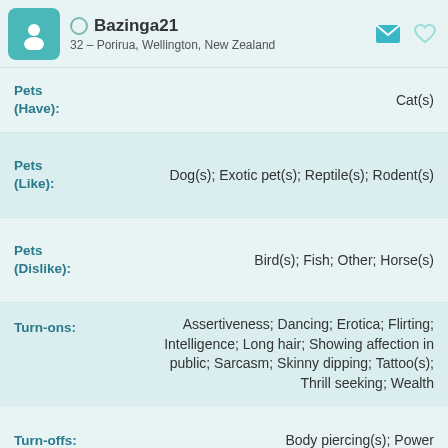Bazinga21 — 32 – Porirua, Wellington, New Zealand
Pets (Have): Cat(s)
Pets (Like): Dog(s); Exotic pet(s); Reptile(s); Rodent(s)
Pets (Dislike): Bird(s); Fish; Other; Horse(s)
Turn-ons: Assertiveness; Dancing; Erotica; Flirting; Intelligence; Long hair; Showing affection in public; Sarcasm; Skinny dipping; Tattoo(s); Thrill seeking; Wealth
Turn-offs: Body piercing(s); Power
The Deep Stuff
Work Aspirations: Fix the bo...